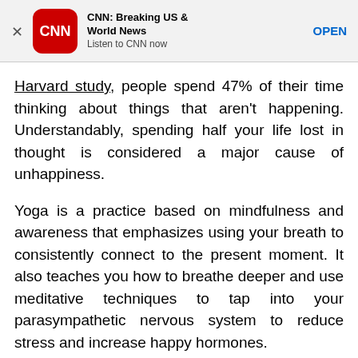[Figure (screenshot): CNN app advertisement banner with CNN logo, title 'CNN: Breaking US & World News', subtitle 'Listen to CNN now', and OPEN button]
Harvard study, people spend 47% of their time thinking about things that aren't happening. Understandably, spending half your life lost in thought is considered a major cause of unhappiness.
Yoga is a practice based on mindfulness and awareness that emphasizes using your breath to consistently connect to the present moment. It also teaches you how to breathe deeper and use meditative techniques to tap into your parasympathetic nervous system to reduce stress and increase happy hormones.
2. Get healthier